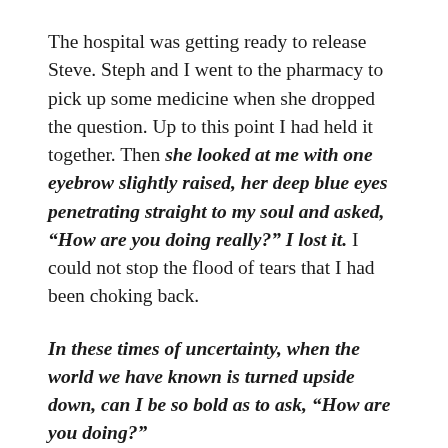The hospital was getting ready to release Steve. Steph and I went to the pharmacy to pick up some medicine when she dropped the question. Up to this point I had held it together. Then she looked at me with one eyebrow slightly raised, her deep blue eyes penetrating straight to my soul and asked, "How are you doing really?" I lost it. I could not stop the flood of tears that I had been choking back.
In these times of uncertainty, when the world we have known is turned upside down, can I be so bold as to ask, "How are you doing?"
If you are like me, on any given day you find yourself on a roller coaster ride of emotions.